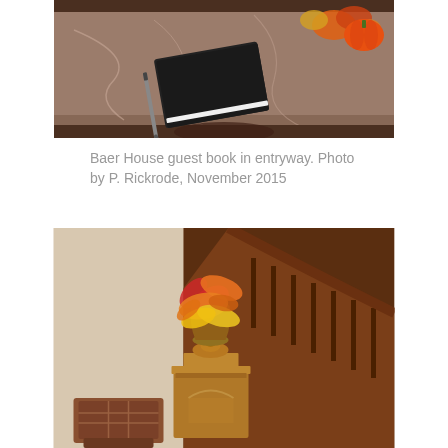[Figure (photo): A black notebook and pen on a marble-topped table with autumn leaves and an orange pumpkin in the background — the Baer House guest book in the entryway.]
Baer House guest book in entryway. Photo by P. Rickrode, November 2015
[Figure (photo): A decorative wooden newel post at the base of a staircase with an ornate vase holding colorful autumn leaves arranged on top, and luggage/gifts visible at the base.]